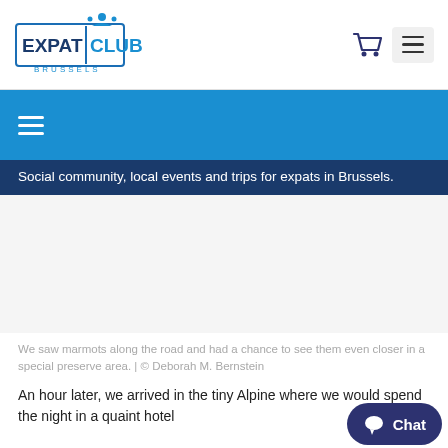[Figure (logo): Expat Club Brussels logo with blue text and figure icon]
[Figure (other): Navigation bar with cart icon and hamburger menu on white background]
[Figure (other): Blue banner with white hamburger menu icon]
Social community, local events and trips for expats in Brussels.
[Figure (photo): Image placeholder area (photo content not visible)]
We saw marmots along the road and had a chance to see them even closer in a special preserve area.  | © Deborah M. Bernstein
An hour later, we arrived in the tiny Alpine where we would spend the night in a quaint hotel
[Figure (other): Chat button with speech bubble icon and 'Chat' text]